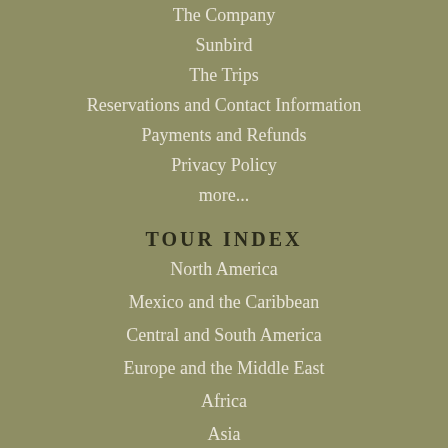The Company
Sunbird
The Trips
Reservations and Contact Information
Payments and Refunds
Privacy Policy
more...
TOUR INDEX
North America
Mexico and the Caribbean
Central and South America
Europe and the Middle East
Africa
Asia